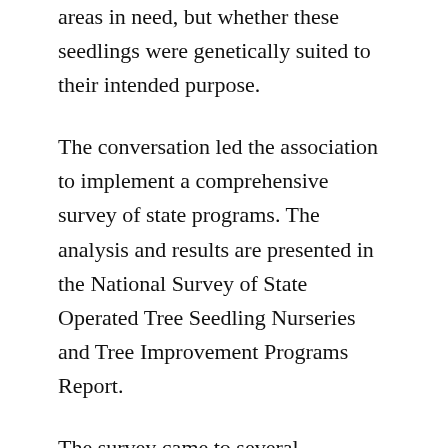areas in need, but whether these seedlings were genetically suited to their intended purpose.
The conversation led the association to implement a comprehensive survey of state programs. The analysis and results are presented in the National Survey of State Operated Tree Seedling Nurseries and Tree Improvement Programs Report.
The survey came to several conclusions. Our nurseries produce 117,011,000 seedlings and ship over 40,000 orders annually. State Nurseries across the board consider family forest owners to be their most important customers, especially since they tend to order during the current planting season and rely on nurseries who grow seedlings on a speculative basis. In addition, the USDA Forest Service Nursery Reforestation and Creation